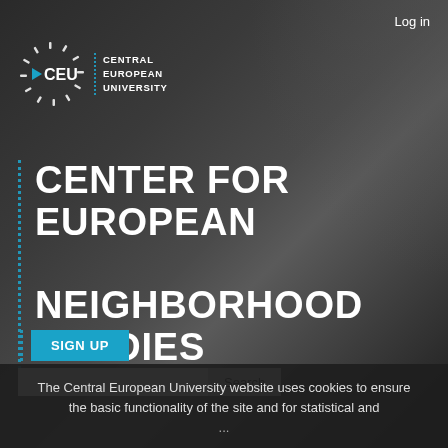Log in
[Figure (logo): CEU - Central European University logo with sun-ray icon and dotted divider]
CENTER FOR EUROPEAN NEIGHBORHOOD STUDIES
SIGN UP
Search
The Central European University website uses cookies to ensure the basic functionality of the site and for statistical and